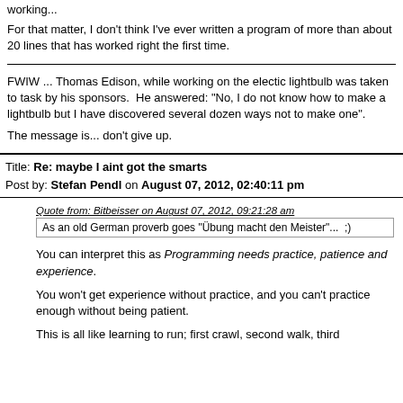working...
For that matter, I don't think I've ever written a program of more than about 20 lines that has worked right the first time.
FWIW ... Thomas Edison, while working on the electic lightbulb was taken to task by his sponsors.  He answered: "No, I do not know how to make a lightbulb but I have discovered several dozen ways not to make one".
The message is... don't give up.
Title: Re: maybe I aint got the smarts
Post by: Stefan Pendl on August 07, 2012, 02:40:11 pm
Quote from: Bitbeisser on August 07, 2012, 09:21:28 am
As an old German proverb goes "Übung macht den Meister"...  ;)
You can interpret this as Programming needs practice, patience and experience.
You won't get experience without practice, and you can't practice enough without being patient.
This is all like learning to run; first crawl, second walk, third